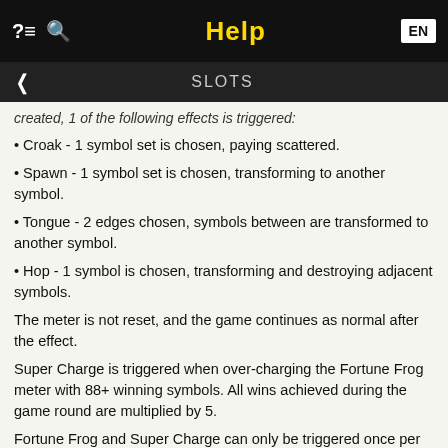Help
SLOTS
created, 1 of the following effects is triggered:
Croak - 1 symbol set is chosen, paying scattered.
Spawn - 1 symbol set is chosen, transforming to another symbol.
Tongue - 2 edges chosen, symbols between are transformed to another symbol.
Hop - 1 symbol is chosen, transforming and destroying adjacent symbols.
The meter is not reset, and the game continues as normal after the effect.
Super Charge is triggered when over-charging the Fortune Frog meter with 88+ winning symbols. All wins achieved during the game round are multiplied by 5.
Fortune Frog and Super Charge can only be triggered once per game round.
Mahjong 88 has 4 seasons - spring, summer, autumn and winter.
Each season has its own unique wild symbol, triggered randomly on non-winning spins. Wild symbols substitute for all symbols and are removed if